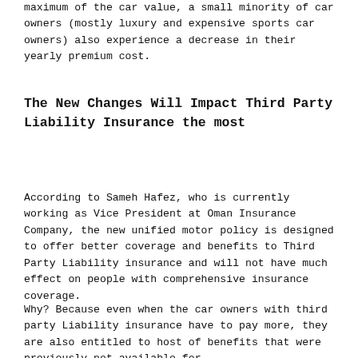maximum of the car value, a small minority of car owners (mostly luxury and expensive sports car owners) also experience a decrease in their yearly premium cost.
The New Changes Will Impact Third Party Liability Insurance the most
According to Sameh Hafez, who is currently working as Vice President at Oman Insurance Company, the new unified motor policy is designed to offer better coverage and benefits to Third Party Liability insurance and will not have much effect on people with comprehensive insurance coverage.
Why? Because even when the car owners with third party Liability insurance have to pay more, they are also entitled to host of benefits that were previously not available for